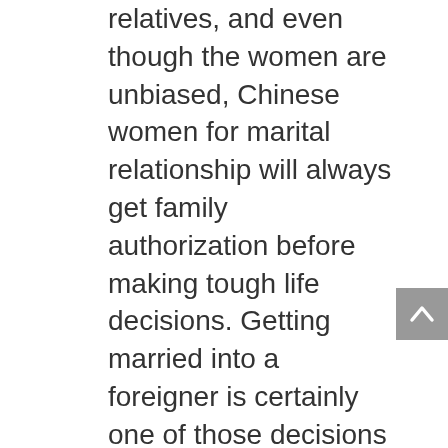relatives, and even though the women are unbiased, Chinese women for marital relationship will always get family authorization before making tough life decisions. Getting married into a foreigner is certainly one of those decisions that can't be taken the only person because they will consider marital relationship an deliberate and necessary journey. Just before embarking on that journey of marital union with your Chinese language bride, you have to visit her parents and relate with them. Should you be going to connect with your date's family, below are great tips to have them to like you. Because you are both adults, the issue of cash will come up sooner or later.
Each of our members want to go on really great dates, connect with every other's personal...